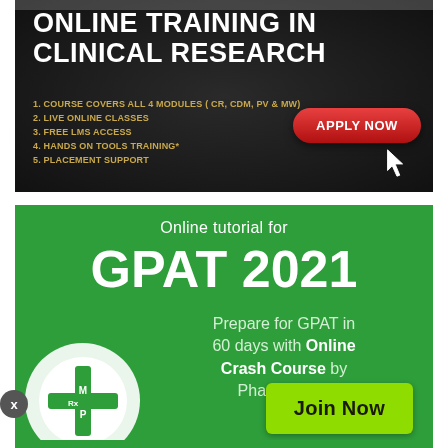[Figure (infographic): Dark textured background advertisement for Online Training in Clinical Research. Shows bold white title text, gold-colored list of 5 course features (COURSE COVERS ALL 4 MODULES CR CDM PV MW, LIVE Online Classes, FREE LMS ACCESS, HANDS ON TOOLS TRAINING, PLACEMENT SUPPORT), and a red 'APPLY NOW' button with cursor icon.]
[Figure (infographic): Green background advertisement for GPAT 2021 online tutorial by PharmaTutor. Shows white text 'Online tutorial for', large bold white GPAT 2021, body text 'Prepare for GPAT in 60 days with Online Crash Course by PharmaTutor', PharmaTutor logo (white circle with MRxP emblem), and a bright green 'Join Now' button.]